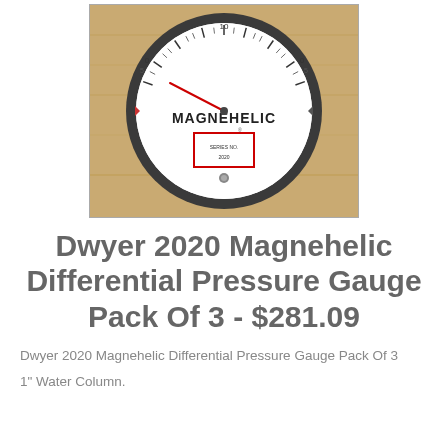[Figure (photo): A Dwyer Magnehelic differential pressure gauge photographed on a wooden surface. The gauge has a circular dial face with a white background, showing the brand name MAGNEHELIC and a pointer needle, with a red-bordered label in the center and a metal casing.]
Dwyer 2020 Magnehelic Differential Pressure Gauge Pack Of 3 - $281.09
Dwyer 2020 Magnehelic Differential Pressure Gauge Pack Of 3
1" Water Column.